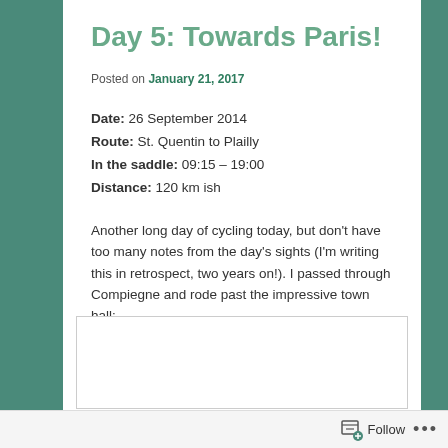Day 5: Towards Paris!
Posted on January 21, 2017
Date: 26 September 2014
Route: St. Quentin to Plailly
In the saddle: 09:15 – 19:00
Distance: 120 km ish
Another long day of cycling today, but don't have too many notes from the day's sights (I'm writing this in retrospect, two years on!). I passed through Compiegne and rode past the impressive town hall:
[Figure (photo): Photograph of the impressive town hall in Compiegne (image placeholder/not loaded)]
Follow